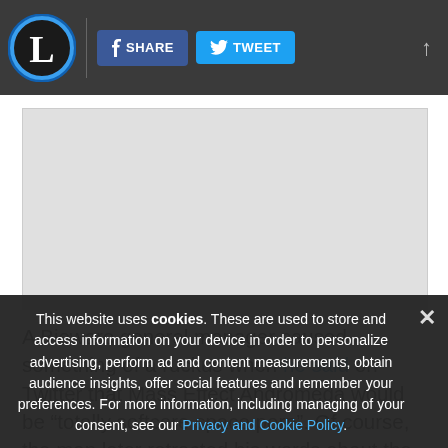L | SHARE | TWEET
[Figure (other): Advertisement placeholder area (grey rectangle)]
A Bioware general manager caused something of a ruckus when he said on Twitter that Mass Effect Andromeda would be “totally softcore space porn”. Of course, the man later retracted his words about the company’s upcoming spacefaring RPG, saying that the game would feature “mature themes” amongst other things. But the controversy highlighted a thorny subject that seems to have embarrassed more often than not. After all, the subject of sex in video games to date has been less than stellar, with Canadian outfit Bioware ironically being one of the few developers in the industry to have
This website uses cookies. These are used to store and access information on your device in order to personalize advertising, perform ad and content measurements, obtain audience insights, offer social features and remember your preferences. For more information, including managing of your consent, see our Privacy and Cookie Policy.